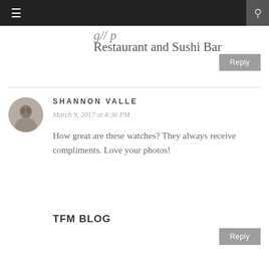g// …p… Restaurant and Sushi Bar
Reply
SHANNON VALLE
March 9, 2017 at 4:36 PM
How great are these watches? They always receive compliments. Love your photos!
TFM BLOG
Reply